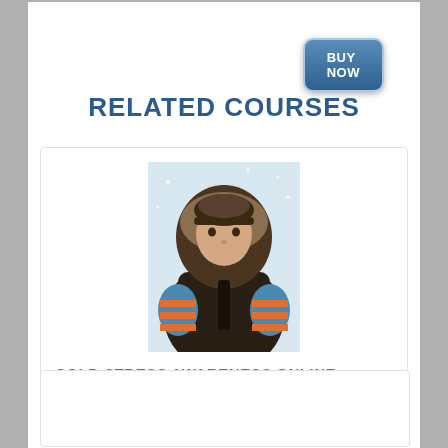BUY NOW
RELATED COURSES
[Figure (photo): Person wearing a dark winter coat with fur-trimmed hood and orange/blue striped mittens, looking cold — course thumbnail for Cold Stress Awareness]
COLD STRESS AWARENESS ONLINE COURSE
$65.95